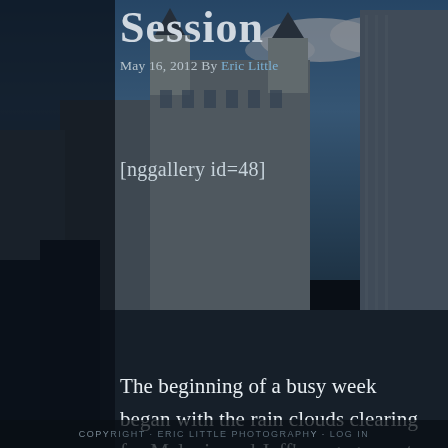[Figure (photo): Urban cityscape background photo showing tall buildings including a castle-style building with pointed turrets, shot against a partly cloudy blue sky, with dark trees in the foreground. The image has a dark blue overlay tint.]
Session
May 16, 2012 By Eric Little
[nggallery id=48]
The beginning of a busy week began with the rain clouds clearing for Melanie and Jeff’s engagement session. Shooting at the Athens Botanical Gardens, one of my favorite places to shoot. Beautiful scenery, hardly anyone is ever there, but just a gorgeous setting. An engagement session is a great chance for any couple to get to know their photographer, it is always enjoyable.
COPYRIGHT · ERIC LITTLE PHOTOGRAPHY · LOG IN